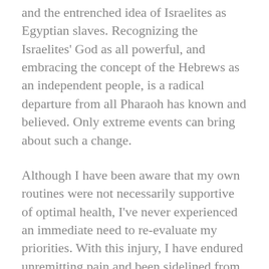and the entrenched idea of Israelites as Egyptian slaves. Recognizing the Israelites' God as all powerful, and embracing the concept of the Hebrews as an independent people, is a radical departure from all Pharaoh has known and believed. Only extreme events can bring about such a change.
Although I have been aware that my own routines were not necessarily supportive of optimal health, I've never experienced an immediate need to re-evaluate my priorities. With this injury, I have endured unremitting pain and been sidelined from virtually all physical activity. I have been forced, much like Pharaoh, into new ways of thinking. Unlike Pharaoh, my ego has indeed surrendered to my body.